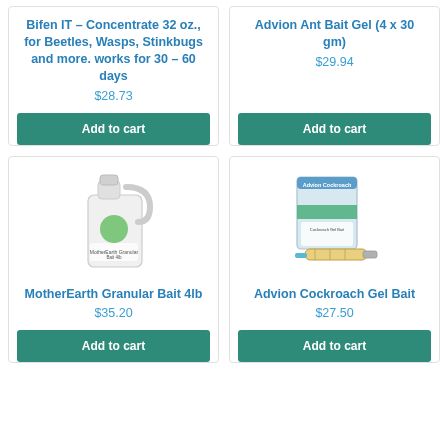Bifen IT – Concentrate 32 oz., for Beetles, Wasps, Stinkbugs and more. works for 30 – 60 days
$28.73
Add to cart
Advion Ant Bait Gel (4 x 30 gm)
$29.94
Add to cart
[Figure (photo): White plastic jug/container of MotherEarth Granular Bait 4lb with green label]
MotherEarth Granular Bait 4lb
$35.20
Add to cart
[Figure (photo): Advion Cockroach Gel Bait product packaging with syringe applicator]
Advion Cockroach Gel Bait
$27.50
Add to cart